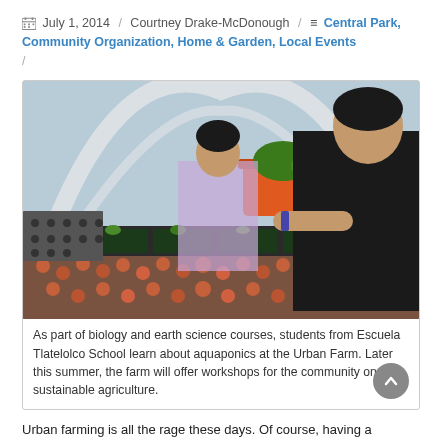July 1, 2014 / Courtney Drake-McDonough / Central Park, Community Organization, Home & Garden, Local Events /
[Figure (photo): Two students working with seedling trays in a greenhouse/hoop house structure. They are tending to small plant seedlings in black trays over a growing bed with clay pellets. An orange bucket and green plants are visible in the background.]
As part of biology and earth science courses, students from Escuela Tlatelolco School learn about aquaponics at the Urban Farm. Later this summer, the farm will offer workshops for the community on sustainable agriculture.
Urban farming is all the rage these days. Of course, having a